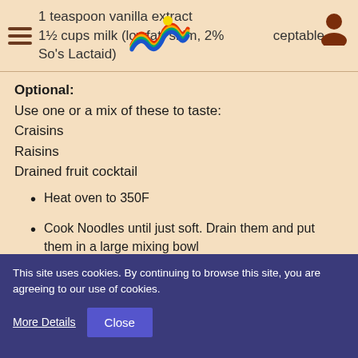1 teaspoon vanilla extract
1½ cups milk (lowfat, skim, 2% acceptable. So's Lactaid)
Optional:
Use one or a mix of these to taste:
Craisins
Raisins
Drained fruit cocktail
Heat oven to 350F
Cook Noodles until just soft. Drain them and put them in a large mixing bowl
Add cottage cheese, sour cream, margarine, eggs, sugar, milk, vanilla and mix until well combined.
Mix in the "extras." My favorite is a craisin/raisin mix.
Pour into a 13 x 9 inch baking dish and spread into an even layer. You can dust the top with cinnamon for an extra color
This site uses cookies. By continuing to browse this site, you are agreeing to our use of cookies.
More Details  Close